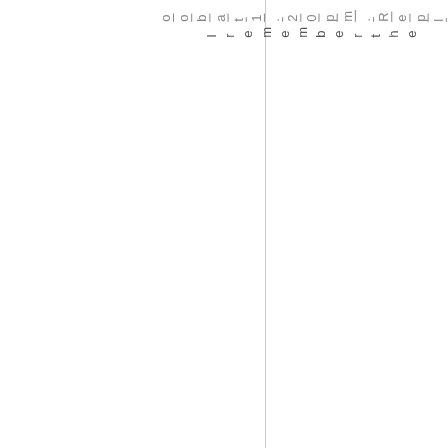oobat1.20pm. Reply I remember the